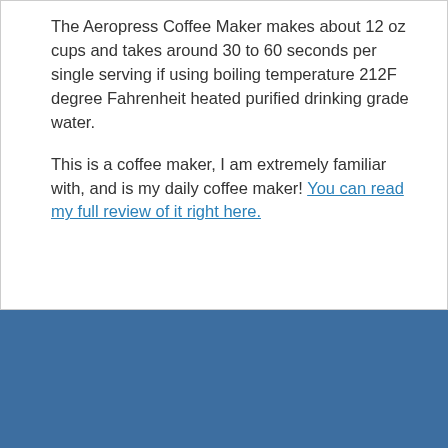The Aeropress Coffee Maker makes about 12 oz cups and takes around 30 to 60 seconds per single serving if using boiling temperature 212F degree Fahrenheit heated purified drinking grade water.
This is a coffee maker, I am extremely familiar with, and is my daily coffee maker! You can read my full review of it right here.
[Figure (illustration): Cookie/privacy shield icon: circular arrow around a keyhole icon, white on blue background]
We use cook on this site